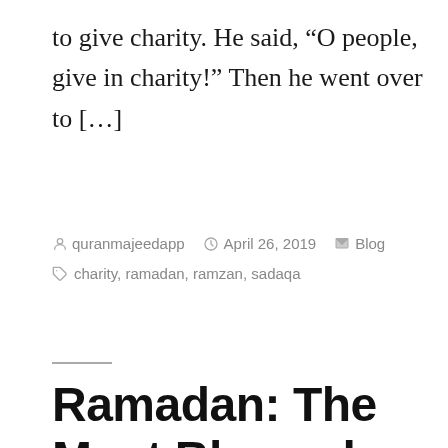to give charity. He said, “O people, give in charity!” Then he went over to […]
By quranmajeedapp   April 26, 2019   Blog   Tags: charity, ramadan, ramzan, sadaqa
Ramadan: The Most Blessed Month In Islam